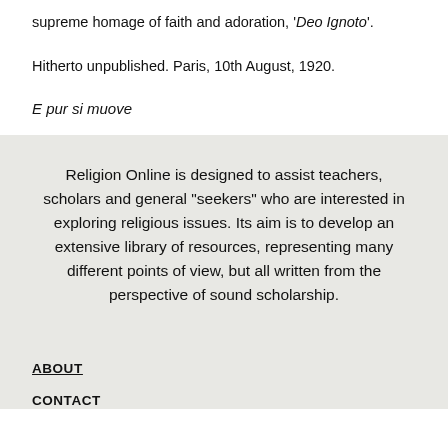supreme homage of faith and adoration, 'Deo Ignoto'.
Hitherto unpublished. Paris, 10th August, 1920.
E pur si muove
Religion Online is designed to assist teachers, scholars and general "seekers" who are interested in exploring religious issues. Its aim is to develop an extensive library of resources, representing many different points of view, but all written from the perspective of sound scholarship.
ABOUT
CONTACT